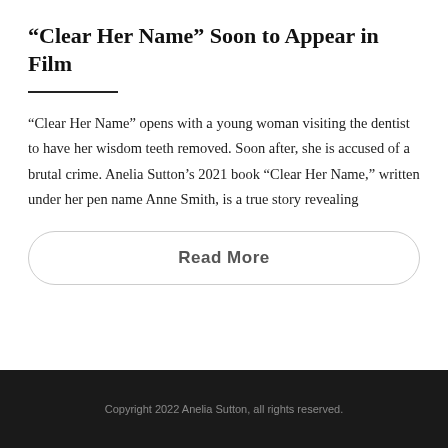“Clear Her Name” Soon to Appear in Film
“Clear Her Name” opens with a young woman visiting the dentist to have her wisdom teeth removed. Soon after, she is accused of a brutal crime. Anelia Sutton’s 2021 book “Clear Her Name,” written under her pen name Anne Smith, is a true story revealing
Read More
Copyright 2022 Anelia Sutton, all rights reserved.